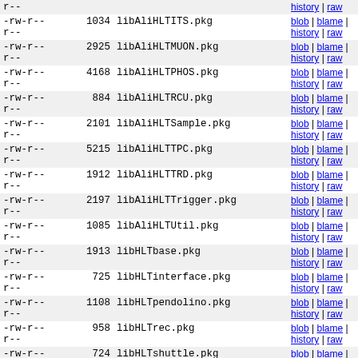| permissions | size | filename | links |
| --- | --- | --- | --- |
| -rw-r-- r-- |  |  | history | raw |
| -rw-r-- r-- | 1034 | libAliHLTITS.pkg | blob | blame | history | raw |
| -rw-r-- r-- | 2925 | libAliHLTMUON.pkg | blob | blame | history | raw |
| -rw-r-- r-- | 4168 | libAliHLTPHOS.pkg | blob | blame | history | raw |
| -rw-r-- r-- | 884 | libAliHLTRCU.pkg | blob | blame | history | raw |
| -rw-r-- r-- | 2101 | libAliHLTSample.pkg | blob | blame | history | raw |
| -rw-r-- r-- | 5215 | libAliHLTTPC.pkg | blob | blame | history | raw |
| -rw-r-- r-- | 1912 | libAliHLTTRD.pkg | blob | blame | history | raw |
| -rw-r-- r-- | 2197 | libAliHLTTrigger.pkg | blob | blame | history | raw |
| -rw-r-- r-- | 1085 | libAliHLTUtil.pkg | blob | blame | history | raw |
| -rw-r-- r-- | 1913 | libHLTbase.pkg | blob | blame | history | raw |
| -rw-r-- r-- | 725 | libHLTinterface.pkg | blob | blame | history | raw |
| -rw-r-- r-- | 1108 | libHLTpendolino.pkg | blob | blame | history | raw |
| -rw-r-- r-- | 958 | libHLTrec.pkg | blob | blame | history | raw |
| -rw-r-- r-- | 724 | libHLTshuttle.pkg | blob | blame | |